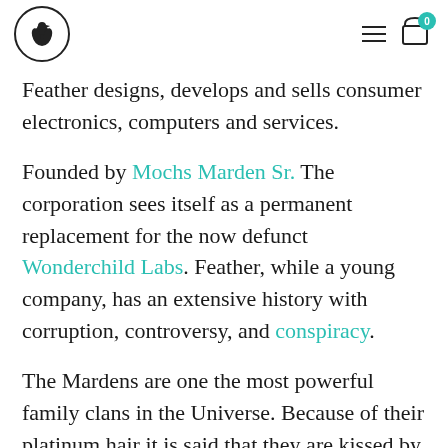Feather logo, hamburger menu, cart icon with badge 0
Feather designs, develops and sells consumer electronics, computers and services.
Founded by Mochs Marden Sr. The corporation sees itself as a permanent replacement for the now defunct Wonderchild Labs. Feather, while a young company, has an extensive history with corruption, controversy, and conspiracy.
The Mardens are one the most powerful family clans in the Universe. Because of their platinum hair it is said that they are kissed by the Light. Their family crest is marked by the Thunderbird